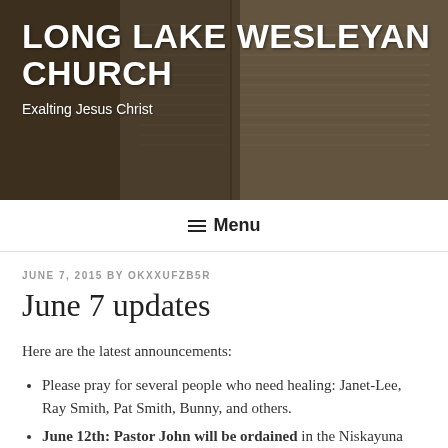[Figure (photo): Header image showing an open Bible with pages visible, dark/sepia toned. White bold text overlaid: 'LONG LAKE WESLEYAN CHURCH' and subtitle 'Exalting Jesus Christ']
LONG LAKE WESLEYAN CHURCH
Exalting Jesus Christ
Menu
JUNE 7, 2015 BY OKXXUFZB5R
June 7 updates
Here are the latest announcements:
Please pray for several people who need healing: Janet-Lee, Ray Smith, Pat Smith, Bunny, and others.
June 12th: Pastor John will be ordained in the Niskayuna Wesleyan Church, in Niskayuna, NY at 7:00 PM as a part of the conference there. Praise God for